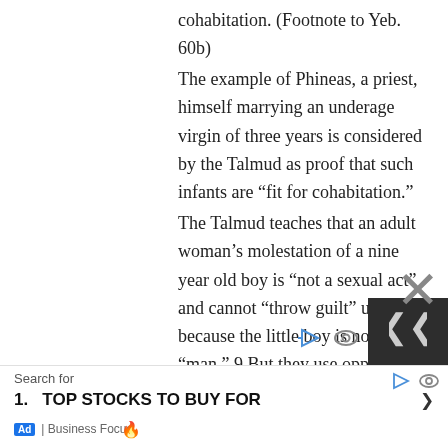cohabitation. (Footnote to Yeb. 60b)
The example of Phineas, a priest, himself marrying an underage virgin of three years is considered by the Talmud as proof that such infants are “fit for cohabitation.”
The Talmud teaches that an adult woman’s molestation of a nine year old boy is “not a sexual act” and cannot “throw guilt” upon her because the little boy is not truly a “man.” 9 But they use opposite logic to sanction rape of little girls aged three years and one day: Such infants they count as “women,” sexually mature and fully responsible to comply with the requirements of marriage.
The Talmud footnotes 3 and 4 to Sanhedrin
Search for
1.  TOP STOCKS TO BUY FOR
Ad | Business Focus